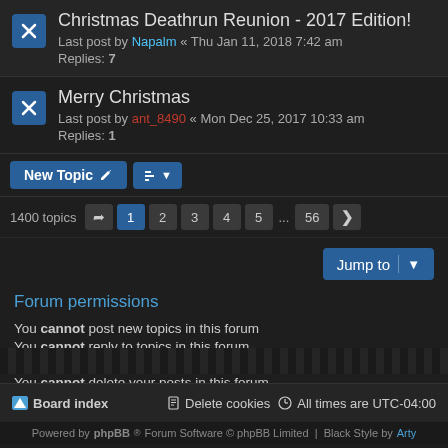Christmas Deathrun Reunion - 2017 Edition!
Last post by Napalm « Thu Jan 11, 2018 7:42 am
Replies: 7
Merry Christmas
Last post by ant_8490 « Mon Dec 25, 2017 10:33 am
Replies: 1
1400 topics   1 2 3 4 5 ... 56 >
Jump to
Forum permissions
You cannot post new topics in this forum
You cannot reply to topics in this forum
You cannot edit your posts in this forum
You cannot delete your posts in this forum
Board index   Delete cookies   All times are UTC-04:00
Powered by phpBB® Forum Software © phpBB Limited  Black Style by Arty